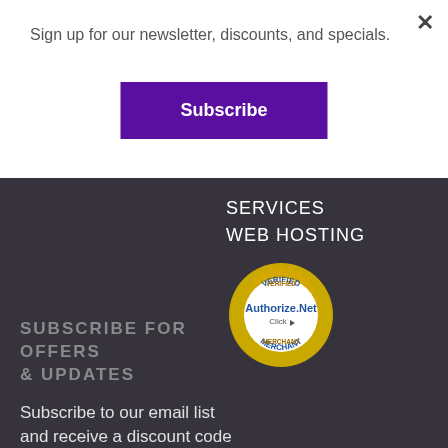Sign up for our newsletter, discounts, and specials.
Subscribe
SERVICES
WEB HOSTING
[Figure (logo): Authorize.Net Verified Merchant badge — gold gear/seal with 'VERIFIED MERCHANT' text around the rim and 'Authorize.Net Click' in the center]
SUBSCRIBE FOR OFFERS & UPDATES
Subscribe to our email list and receive a discount code to use on your next order.